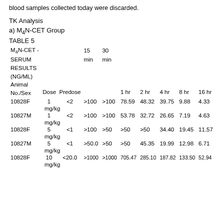blood samples collected today were discarded.
TK Analysis
a) M4N-CET Group
TABLE 5
| M4N-CET - SERUM RESULTS (NG/ML) | Animal No./Sex | Dose | Predose | 15 min | 30 min | 1 hr | 2 hr | 4 hr | 8 hr | 16 hr |
| --- | --- | --- | --- | --- | --- | --- | --- | --- | --- | --- |
| 10828F | 1 mg/kg | <2 | >100 | >100 | 78.59 | 48.32 | 39.75 | 9.88 | 4.33 |
| 10827M | 1 mg/kg | <2 | >100 | >100 | 53.78 | 32.72 | 26.65 | 7.19 | 4.63 |
| 10828F | 5 mg/kg | <1 | >100 | >50 | >50 | >50 | 34.40 | 19.45 | 11.57 |
| 10827M | 5 mg/kg | <1 | >50.0 | >50 | >50 | 45.35 | 19.99 | 12.98 | 6.71 |
| 10828F | 10 mg/kg | <20.0 | >1000 | >1000 | 705.47 | 285.10 | 187.82 | 133.50 | 52.94 |